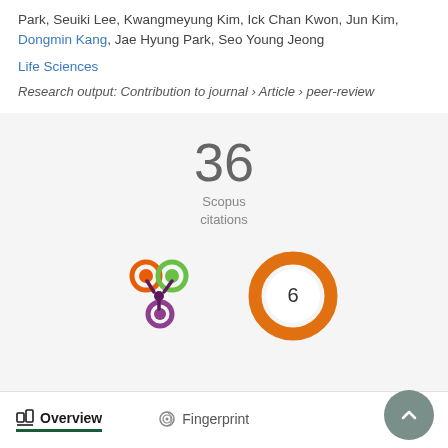Park, Seuiki Lee, Kwangmeyung Kim, Ick Chan Kwon, Jun Kim, Dongmin Kang, Jae Hyung Park, Seo Young Jeong
Life Sciences
Research output: Contribution to journal › Article › peer-review
36
Scopus
citations
[Figure (logo): Altmetric badge logo with orange, green, and purple circles]
[Figure (donut-chart): Orange donut chart showing 6]
Overview
Fingerprint